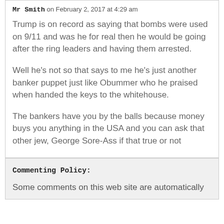Mr Smith on February 2, 2017 at 4:29 am
Trump is on record as saying that bombs were used on 9/11 and was he for real then he would be going after the ring leaders and having them arrested.
Well he’s not so that says to me he’s just another banker puppet just like Obummer who he praised when handed the keys to the whitehouse.
The bankers have you by the balls because money buys you anything in the USA and you can ask that other jew, George Sore-Ass if that true or not
Commenting Policy:
Some comments on this web site are automatically